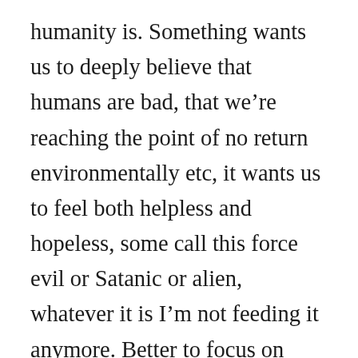humanity is. Something wants us to deeply believe that humans are bad, that we're reaching the point of no return environmentally etc, it wants us to feel both helpless and hopeless, some call this force evil or Satanic or alien, whatever it is I'm not feeding it anymore. Better to focus on what I can do to help the planet and others than what is being done in the opposite direction. That is